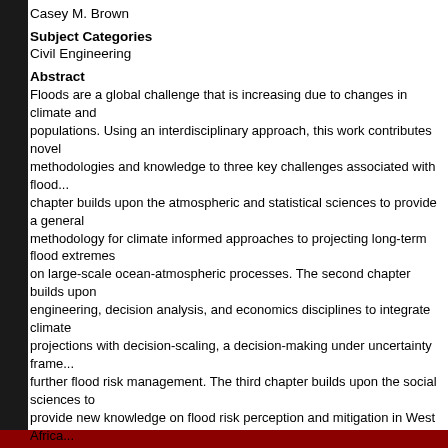Casey M. Brown
Subject Categories
Civil Engineering
Abstract
Floods are a global challenge that is increasing due to changes in climate and populations. Using an interdisciplinary approach, this work contributes novel methodologies and knowledge to three key challenges associated with flood... chapter builds upon the atmospheric and statistical sciences to provide a general methodology for climate informed approaches to projecting long-term flood extremes on large-scale ocean-atmospheric processes. The second chapter builds upon engineering, decision analysis, and economics disciplines to integrate climate projections with decision-scaling, a decision-making under uncertainty frame... further flood risk management. The third chapter builds upon the social sciences to provide new knowledge on flood risk perception and mitigation in West Africa... outcomes of this work contribute important advancements to addressing the urgent need for solutions to floods around the world.
DOI
https://doi.org/10.7275/11932410.0
Recommended Citation
Schlef, Katherine, "Flood Risk Assessment, Management and Perceptions in a Cha... (2018). Doctoral Dissertations. 1273. https://doi.org/10.7275/11932410.0 https://scholarworks.umass.edu/dissertations_2...